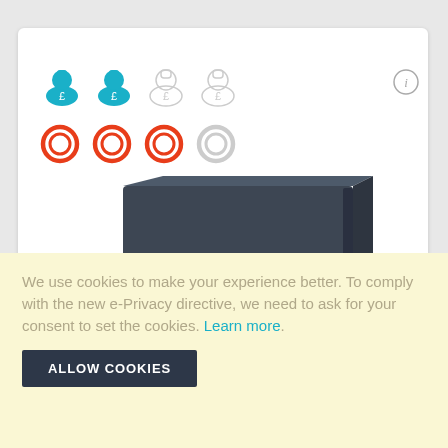[Figure (infographic): Rating icons: 2 filled blue money bag icons with £ symbol and 2 unfilled grey money bag icons, plus an info (i) circle button top right. Below: 3 filled red/orange fire ring icons and 1 unfilled grey fire ring icon.]
[Figure (photo): Chubbsafes branded dark grey/slate colored safe with a three-spoke white handle and a silver electronic keypad combination lock on the front face.]
We use cookies to make your experience better. To comply with the new e-Privacy directive, we need to ask for your consent to set the cookies. Learn more.
ALLOW COOKIES